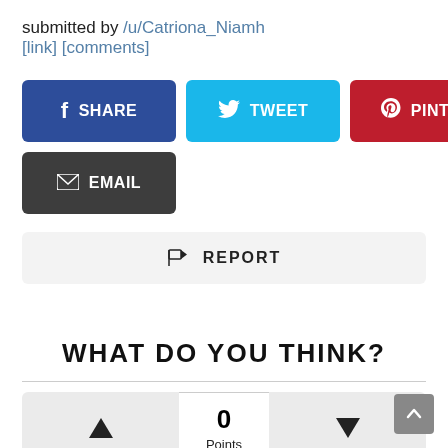submitted by /u/Catriona_Niamh
[link] [comments]
[Figure (screenshot): Social share buttons: Facebook Share, Tweet, Pinterest, Email]
[Figure (screenshot): Report button bar with flag icon]
WHAT DO YOU THINK?
[Figure (screenshot): Vote row with upvote button, 0 Points center, downvote button]